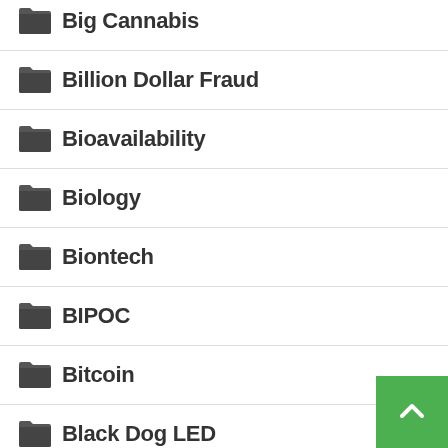Big Cannabis
Billion Dollar Fraud
Bioavailability
Biology
Biontech
BIPOC
Bitcoin
Black Dog LED
Black Friday
Black Market
Blake Anderson
Bleach Flour
Block Cannabis